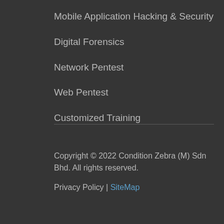Mobile Application Hacking & Security
Digital Forensics
Network Pentest
Web Pentest
Customized Training
Copyright © 2022 Condition Zebra (M) Sdn Bhd. All rights reserved.
Privacy Policy | SiteMap